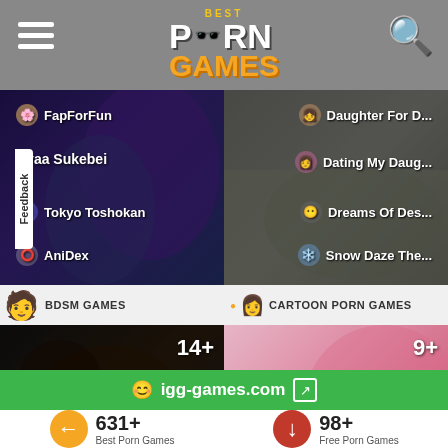Best Porn Games — website header with hamburger menu and search icon
[Figure (screenshot): Left panel: Dark anime-style illustration with character. Links: FapForFun, Nyaa Sukebei, Tokyo Toshokan, AniDex]
[Figure (screenshot): Right panel: 3D render of figure on couch. Links: Daughter For D..., Dating My Daug..., Dreams Of Des..., Snow Daze The...]
BDSM GAMES
CARTOON PORN GAMES
[Figure (screenshot): Left panel 2: Dark horror game screenshot with 14+ badge. Links: Slave Lords Of ..., Sex-Arcade Th...]
[Figure (screenshot): Right panel 2: Cartoon/anime art with 9+ badge. Links: Meet And Fuck ..., Milftoon Drama]
igg-games.com
631+
Best Porn Games
98+
Free Porn Games